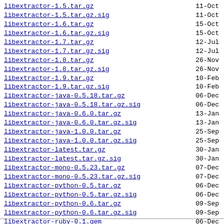libextractor-1.5.tar.gz  11-Oct
libextractor-1.5.tar.gz.sig  11-Oct
libextractor-1.6.tar.gz  15-Oct
libextractor-1.6.tar.gz.sig  15-Oct
libextractor-1.7.tar.gz  12-Jul
libextractor-1.7.tar.gz.sig  12-Jul
libextractor-1.8.tar.gz  26-Nov
libextractor-1.8.tar.gz.sig  26-Nov
libextractor-1.9.tar.gz  10-Feb
libextractor-1.9.tar.gz.sig  10-Feb
libextractor-java-0.5.18.tar.gz  06-Dec
libextractor-java-0.5.18.tar.gz.sig  06-Dec
libextractor-java-0.6.0.tar.gz  13-Jan
libextractor-java-0.6.0.tar.gz.sig  13-Jan
libextractor-java-1.0.0.tar.gz  25-Sep
libextractor-java-1.0.0.tar.gz.sig  25-Sep
libextractor-latest.tar.gz  30-Jan
libextractor-latest.tar.gz.sig  30-Jan
libextractor-mono-0.5.23.tar.gz  07-Dec
libextractor-mono-0.5.23.tar.gz.sig  07-Dec
libextractor-python-0.5.tar.gz  06-Dec
libextractor-python-0.5.tar.gz.sig  06-Dec
libextractor-python-0.6.tar.gz  09-Sep
libextractor-python-0.6.tar.gz.sig  09-Sep
libextractor-ruby-0.1.gem  06-Dec
libextractor-ruby-0.1.gem.sig  06-Dec
libextractor-w32-1.0.0.zip  08-Oct
libextractor-w32-1.0.0.zip.sig  08-Oct